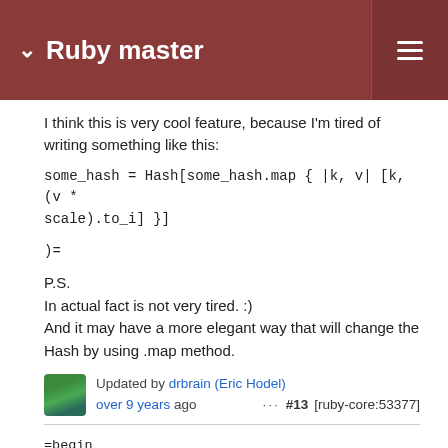Ruby master
I think this is very cool feature, because I'm tired of writing something like this:
some_hash = Hash[some_hash.map { |k, v| [k, (v * scale).to_i] }]
)=
P.S.
In actual fact is not very tired. :)
And it may have a more elegant way that will change the Hash by using .map method.
Updated by drbrain (Eric Hodel) ··· #13 [ruby-core:53377] over 9 years ago
=begin
There is a potential for a security exploit with Enumerable#to_h:
user_input = %w[rm -rf /]
system ['ls', '-l'], *user_input
With system, the first argument is used as the environment